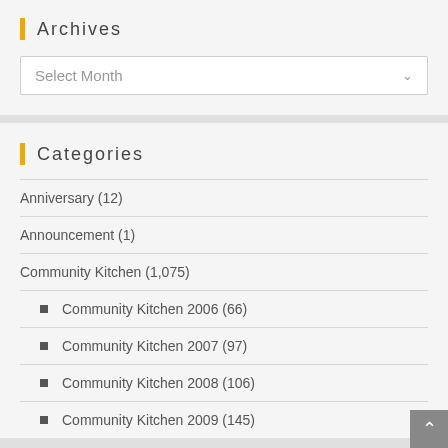Archives
Select Month
Categories
Anniversary (12)
Announcement (1)
Community Kitchen (1,075)
Community Kitchen 2006 (66)
Community Kitchen 2007 (97)
Community Kitchen 2008 (106)
Community Kitchen 2009 (145)